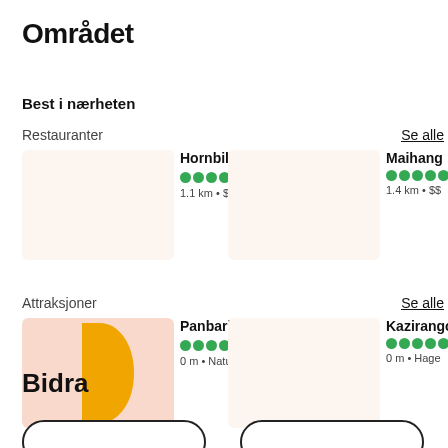Området
Best i nærheten
Restauranter
Se alle
[Figure (photo): Thumbnail image for Hornbill Restaurant, beige/pink placeholder]
Hornbill Restaurant
4.5 stars, 49 reviews
1.1 km • $$ - $$$ • Indisk • ...
[Figure (photo): Thumbnail image for Maihang restaurant, beige/pink placeholder]
Maihang
5 stars
1.4 km • $$
Attraksjoner
Se alle
[Figure (illustration): Thumbnail for Panbari Reserve with pink background and yellow shape illustration]
Panbari Reserve...
4.5 stars, 5 reviews
0 m • Natur- og dyrelivo...
[Figure (photo): Thumbnail for Kaziranga, beige/pink placeholder]
Kaziranga
5 stars
0 m • Hage
Bidra